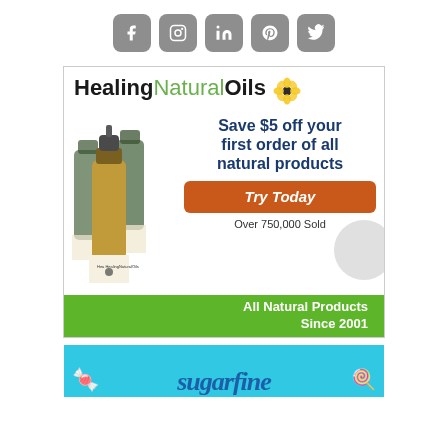[Figure (infographic): Social media icon buttons: Facebook, Instagram, LinkedIn, Pinterest, Twitter — gray rounded square icons]
[Figure (infographic): Healing Natural Oils advertisement banner. Shows product bottles, text: Save $5 off your first order of all natural products. Try Today button. Over 750,000 Sold. All Natural Products Since 2001.]
[Figure (infographic): Partial Sugarfine advertisement on cyan/blue background, showing beginning of brand name text]